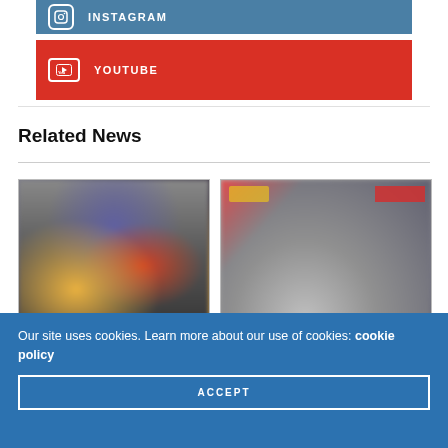INSTAGRAM
YOUTUBE
Related News
[Figure (photo): Blurred photo of a colorful gaming or toy display]
[Figure (photo): Blurred photo of a store display with yellow logo and red badge]
GAMES
Our site uses cookies. Learn more about our use of cookies: cookie policy
ACCEPT